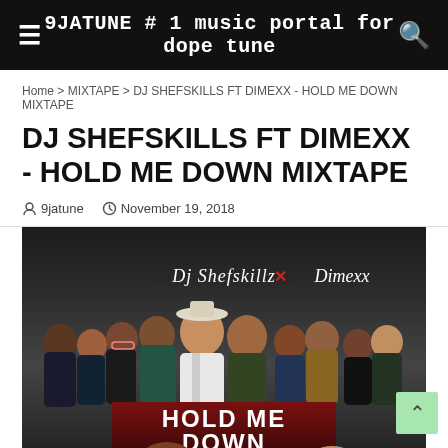9JATUNE # 1 music portal for dope tune
Home > MIXTAPE > DJ SHEFSKILLS FT DIMEXX - HOLD ME DOWN MIXTAPE
DJ SHEFSKILLS FT DIMEXX - HOLD ME DOWN MIXTAPE
9jatune  November 19, 2018
[Figure (photo): Mixtape cover art showing Dj Shefskillz X Dimexx with group of artists and HOLD ME DOWN text]